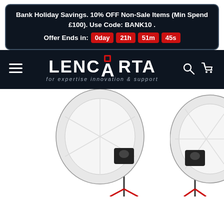Bank Holiday Savings. 10% OFF Non-Sale Items (Min Spend £100). Use Code: BANK10 . Offer Ends in: 0day 21h 51m 45s
[Figure (logo): Lencarta logo with red square icon inside the letter A, white bold text on dark navy background, tagline: for expertise innovation & support]
[Figure (photo): Two large white photography softbox lights on stands against a white background, viewed from slightly below]